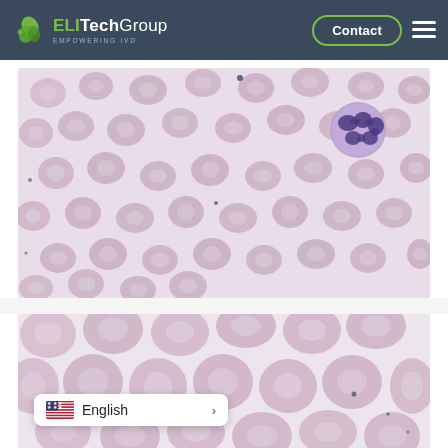[Figure (logo): ELITechGroup logo with leaf/hexagon icon and text 'EMPOWERING IVD' on dark navy header bar, with Contact button and hamburger menu]
[Figure (photo): Microscopy image of blood smear showing red blood cells (erythrocytes) and one white blood cell (neutrophil) at upper right, stained with purple/pink Giemsa stain on light lavender background]
[Figure (photo): Microscopy image of blood smear showing red blood cells at higher magnification, cells appear as pink donuts with pale centers, few scattered on light background]
[Figure (other): Language selector widget showing US flag, text 'English' and right arrow chevron on white rounded rectangle]